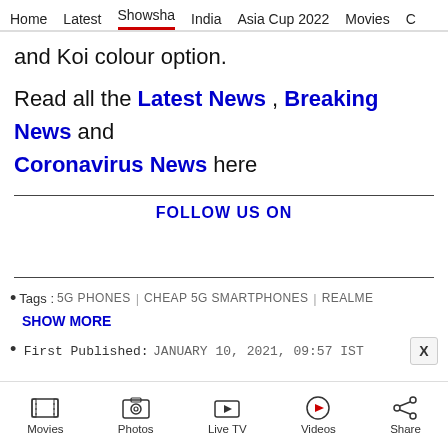Home  Latest  Showsha  India  Asia Cup 2022  Movies  C
and Koi colour option.
Read all the Latest News , Breaking News and Coronavirus News here
FOLLOW US ON
• Tags :  5G PHONES  |  CHEAP 5G SMARTPHONES  |  REALME
SHOW MORE
• First Published: JANUARY 10, 2021, 09:57 IST
Movies  Photos  Live TV  Videos  Share